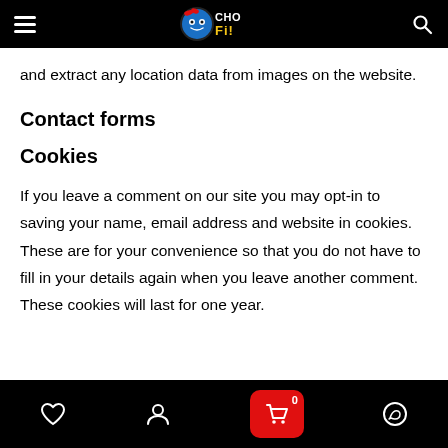CHOFI logo with hamburger menu and search icon
and extract any location data from images on the website.
Contact forms
Cookies
If you leave a comment on our site you may opt-in to saving your name, email address and website in cookies. These are for your convenience so that you do not have to fill in your details again when you leave another comment. These cookies will last for one year.
Bottom navigation bar with heart, user, cart (0), and WhatsApp icons